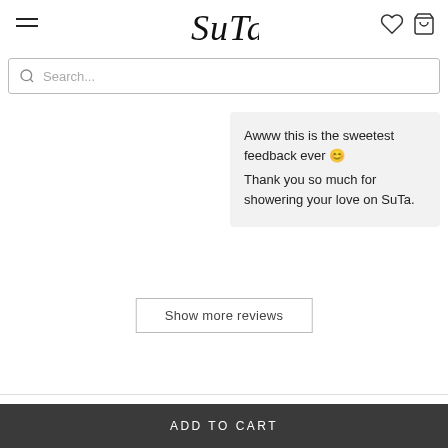[Figure (screenshot): Website header with hamburger menu icon on left, SuTa brand logo (cursive) in center, heart and shopping bag icons on right]
Search...
Awww this is the sweetest feedback ever 😊
Thank you so much for showering your love on SuTa.
Show more reviews
ADD TO CART